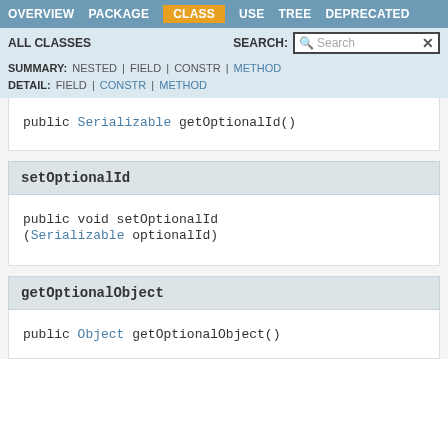OVERVIEW  PACKAGE  CLASS  USE  TREE  DEPRECATED
ALL CLASSES   SEARCH:
SUMMARY: NESTED | FIELD | CONSTR | METHOD  DETAIL: FIELD | CONSTR | METHOD
public Serializable getOptionalId()
setOptionalId
public void setOptionalId(Serializable optionalId)
getOptionalObject
public Object getOptionalObject()